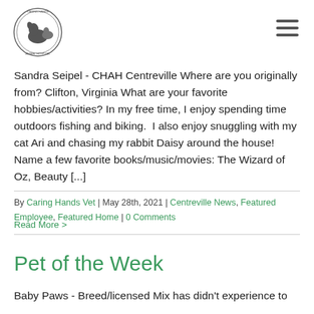[Figure (logo): Caring Hands Animal Hospital circular logo with dog and cat silhouette]
Sandra Seipel - CHAH Centreville Where are you originally from? Clifton, Virginia What are your favorite hobbies/activities? In my free time, I enjoy spending time outdoors fishing and biking.  I also enjoy snuggling with my cat Ari and chasing my rabbit Daisy around the house! Name a few favorite books/music/movies: The Wizard of Oz, Beauty [...]
By Caring Hands Vet | May 28th, 2021 | Centreville News, Featured Employee, Featured Home | 0 Comments
Read More >
Pet of the Week
Baby Paws - Breed/licensed Mix has didn't experience to